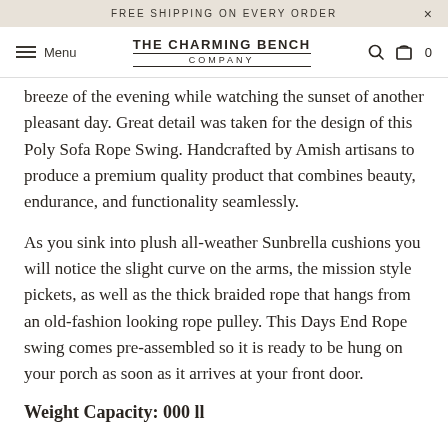FREE SHIPPING ON EVERY ORDER
THE CHARMING BENCH COMPANY — Menu
breeze of the evening while watching the sunset of another pleasant day. Great detail was taken for the design of this Poly Sofa Rope Swing. Handcrafted by Amish artisans to produce a premium quality product that combines beauty, endurance, and functionality seamlessly.
As you sink into plush all-weather Sunbrella cushions you will notice the slight curve on the arms, the mission style pickets, as well as the thick braided rope that hangs from an old-fashion looking rope pulley. This Days End Rope swing comes pre-assembled so it is ready to be hung on your porch as soon as it arrives at your front door.
Weight Capacity: 000 ll